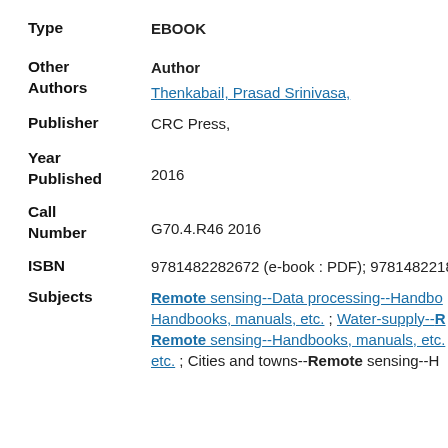Type: EBOOK
Other Authors — Author: Thenkabail, Prasad Srinivasa,
Publisher: CRC Press,
Year Published: 2016
Call Number: G70.4.R46 2016
ISBN: 9781482282672 (e-book : PDF); 9781482221800
Subjects: Remote sensing--Data processing--Handbooks, Handbooks, manuals, etc. ; Water-supply--Remote sensing--Handbooks, manuals, etc. ; Cities and towns--Remote sensing--H